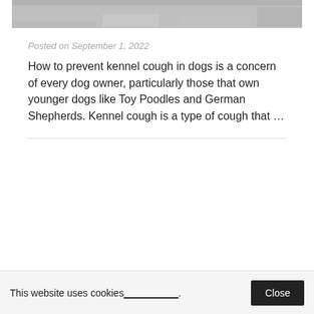[Figure (photo): Partial image of dogs or animals on rocky/snowy surface, cropped at top of page]
Posted on September 1, 2022
How to prevent kennel cough in dogs is a concern of every dog owner, particularly those that own younger dogs like Toy Poodles and German Shepherds. Kennel cough is a type of cough that …
This website uses cookies_________.